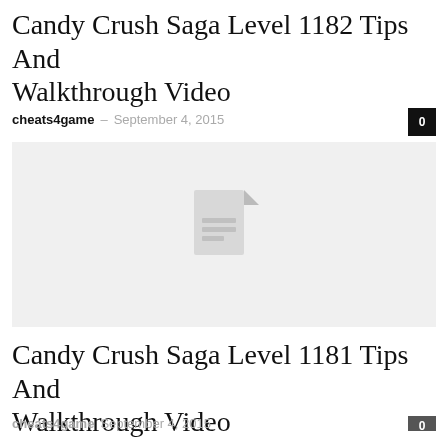Candy Crush Saga Level 1182 Tips And Walkthrough Video
cheats4game – September 4, 2015
[Figure (other): Gray placeholder image with a document/file icon in the center]
Candy Crush Saga Level 1181 Tips And Walkthrough Video
cheats4game – September 4, 2015